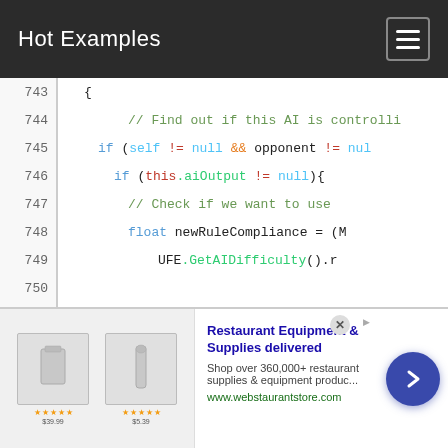Hot Examples
[Figure (screenshot): Code viewer showing lines 743-757 of a C# source file with syntax highlighting. Lines include: opening brace, comment about AI control, if statements with null checks, aiOutput check, newRuleCompliance float, UFE.GetAIDifficulty() call, bool useBestAvailableMove, comments, this.movements.Clear(), float attackWeight, UFE.GetAIDifficulty().]
[Figure (other): Advertisement banner for Restaurant Equipment & Supplies delivered by webstaurantstore.com, with product images, star ratings, price labels, and a blue arrow button.]